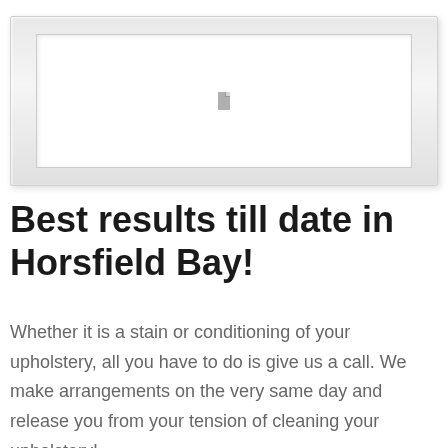[Figure (other): A placeholder image box with a grey outer frame, inner white rectangle, and a small grey document/file icon in the center.]
Best results till date in Horsfield Bay!
Whether it is a stain or conditioning of your upholstery, all you have to do is give us a call. We make arrangements on the very same day and release you from your tension of cleaning your upholstery!.